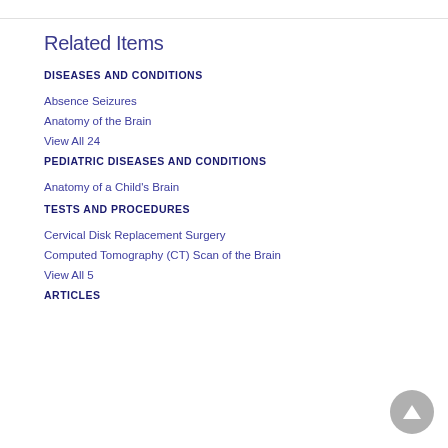Related Items
DISEASES AND CONDITIONS
Absence Seizures
Anatomy of the Brain
View All 24
PEDIATRIC DISEASES AND CONDITIONS
Anatomy of a Child's Brain
TESTS AND PROCEDURES
Cervical Disk Replacement Surgery
Computed Tomography (CT) Scan of the Brain
View All 5
ARTICLES